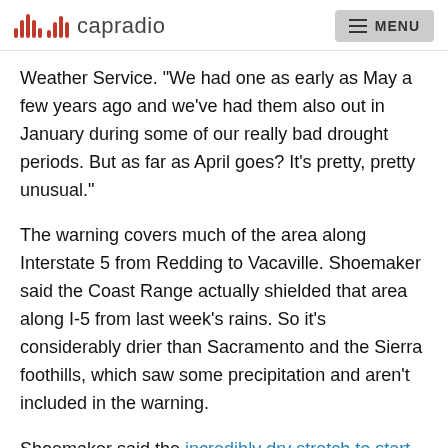capradio  MENU
Weather Service. "We had one as early as May a few years ago and we've had them also out in January during some of our really bad drought periods. But as far as April goes? It's pretty, pretty unusual."
The warning covers much of the area along Interstate 5 from Redding to Vacaville. Shoemaker said the Coast Range actually shielded that area along I-5 from last week's rains. So it's considerably drier than Sacramento and the Sierra foothills, which saw some precipitation and aren't included in the warning.
Shoemaker said the incredibly dry stretch to start the...